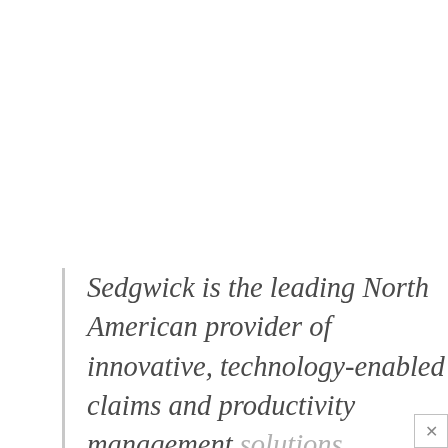Sedgwick is the leading North American provider of innovative, technology-enabled claims and productivity management solutions, delivering a world of